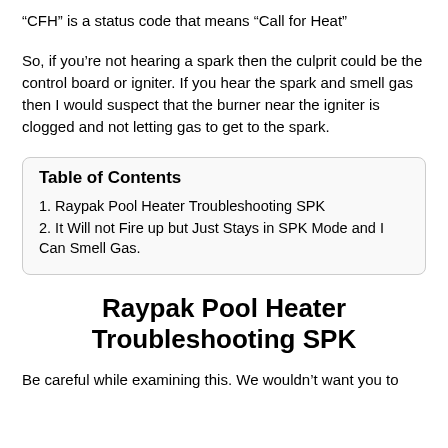“CFH” is a status code that means “Call for Heat”
So, if you’re not hearing a spark then the culprit could be the control board or igniter. If you hear the spark and smell gas then I would suspect that the burner near the igniter is clogged and not letting gas to get to the spark.
| Table of Contents |
| --- |
| 1. Raypak Pool Heater Troubleshooting SPK |
| 2. It Will not Fire up but Just Stays in SPK Mode and I Can Smell Gas. |
Raypak Pool Heater Troubleshooting SPK
Be careful while examining this. We wouldn’t want you to ...